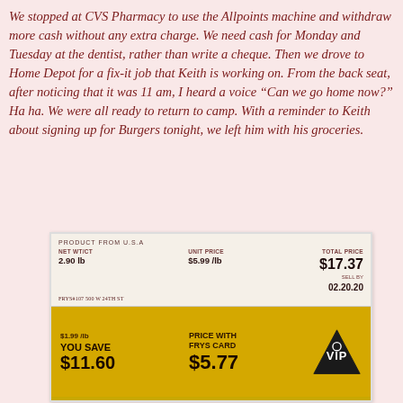We stopped at CVS Pharmacy to use the Allpoints machine and withdraw more cash without any extra charge. We need cash for Monday and Tuesday at the dentist, rather than write a cheque. Then we drove to Home Depot for a fix-it job that Keith is working on. From the back seat, after noticing that it was 11 am, I heard a voice "Can we go home now?" Ha ha. We were all ready to return to camp. With a reminder to Keith about signing up for Burgers tonight, we left him with his groceries.
[Figure (photo): Photo of a grocery store price label sticker showing: NET WT/CT 2.90 lb, UNIT PRICE $5.99 /lb, TOTAL PRICE $17.37, SELL BY 02.20.20, FRYS#107 500 W 24TH ST. Yellow VIP card section showing: $1.99 /lb YOU SAVE $11.60, PRICE WITH FRYS CARD $5.77, VIP logo with diamond/triangle shape.]